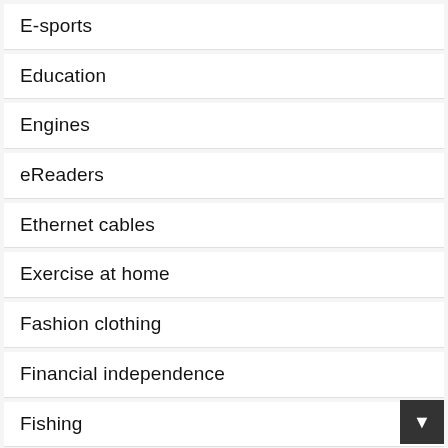E-sports
Education
Engines
eReaders
Ethernet cables
Exercise at home
Fashion clothing
Financial independence
Fishing
Freelancing
Gadgets